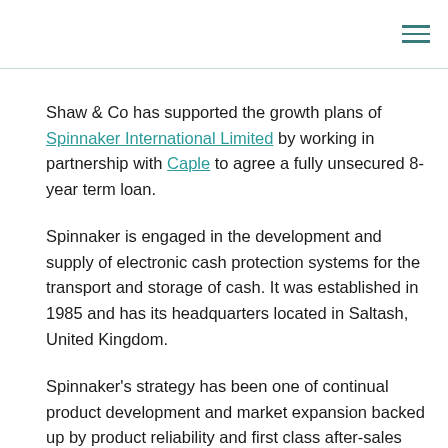Shaw & Co has supported the growth plans of Spinnaker International Limited by working in partnership with Caple to agree a fully unsecured 8-year term loan.
Spinnaker is engaged in the development and supply of electronic cash protection systems for the transport and storage of cash. It was established in 1985 and has its headquarters located in Saltash, United Kingdom.
Spinnaker's strategy has been one of continual product development and market expansion backed up by product reliability and first class after-sales support. The product development strategy has also focussed on providing fully integrated solutions across the whole of the cash security industry, incorporating Cash-in-Transit ("CIT"), banking and retail. Another key element of